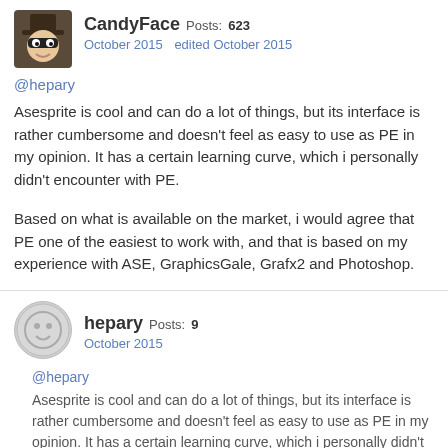CandyFace Posts: 623
October 2015   edited October 2015
@hepary
Asesprite is cool and can do a lot of things, but its interface is rather cumbersome and doesn't feel as easy to use as PE in my opinion. It has a certain learning curve, which i personally didn't encounter with PE.
Based on what is available on the market, i would agree that PE one of the easiest to work with, and that is based on my experience with ASE, GraphicsGale, Grafx2 and Photoshop.
hepary Posts: 9
October 2015
@hepary
Asesprite is cool and can do a lot of things, but its interface is rather cumbersome and doesn't feel as easy to use as PE in my opinion. It has a certain learning curve, which i personally didn't encounter with PE.